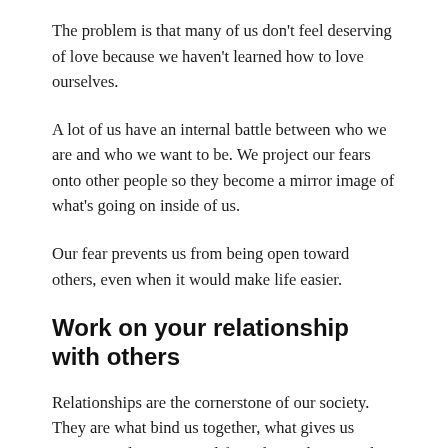The problem is that many of us don't feel deserving of love because we haven't learned how to love ourselves.
A lot of us have an internal battle between who we are and who we want to be. We project our fears onto other people so they become a mirror image of what's going on inside of us.
Our fear prevents us from being open toward others, even when it would make life easier.
Work on your relationship with others
Relationships are the cornerstone of our society. They are what bind us together, what gives us purpose and meaning in life. Relationships are also easy to put on the back burner until you get time for it.